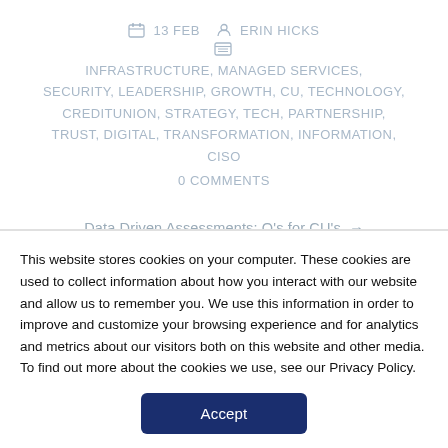13 FEB   ERIN HICKS
INFRASTRUCTURE, MANAGED SERVICES, SECURITY, LEADERSHIP, GROWTH, CU, TECHNOLOGY, CREDITUNION, STRATEGY, TECH, PARTNERSHIP, TRUST, DIGITAL, TRANSFORMATION, INFORMATION, CISO
0 COMMENTS
Data Driven Assessments: Q's for CU's →
This website stores cookies on your computer. These cookies are used to collect information about how you interact with our website and allow us to remember you. We use this information in order to improve and customize your browsing experience and for analytics and metrics about our visitors both on this website and other media. To find out more about the cookies we use, see our Privacy Policy.
Accept